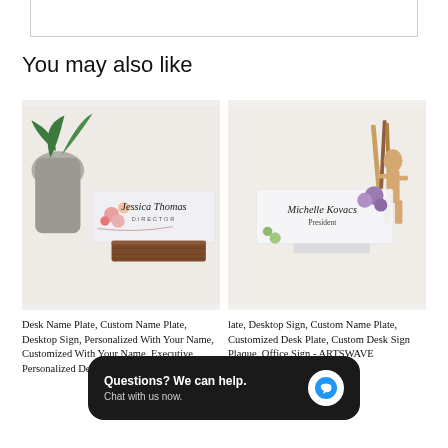You may also like
[Figure (photo): Desk name plate with floral design showing 'Jessica Thomas Director' on a wooden base, with a plant in background]
[Figure (photo): Desk name plate with floral design showing 'Michelle Kovacs President' on clear acrylic stand, with wooden figure in background]
Desk Name Plate, Custom Name Plate, Desktop Sign, Personalized With Your Name, Customized With Your Name, Executive Personalized Desk Name Plate Wooden
Desk Name Plate, Desktop Sign, Custom Name Plate, Customized Desk Plate, Custom Desk Sign Plaque, Office Sign - ARTSWAVE
[Figure (infographic): Chat widget overlay: 'Questions? We can help. Chat with us now.' with blue chat icon on dark background]